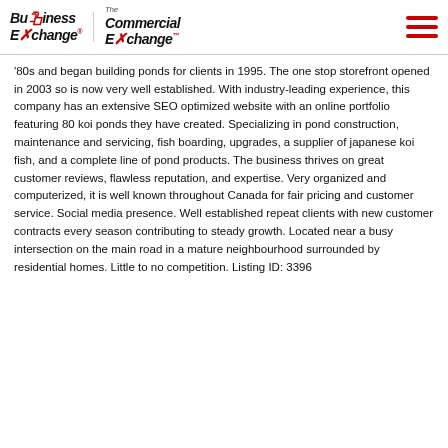Business Exchange | The Commercial Exchange
'80s and began building ponds for clients in 1995. The one stop storefront opened in 2003 so is now very well established. With industry-leading experience, this company has an extensive SEO optimized website with an online portfolio featuring 80 koi ponds they have created. Specializing in pond construction, maintenance and servicing, fish boarding, upgrades, a supplier of japanese koi fish, and a complete line of pond products. The business thrives on great customer reviews, flawless reputation, and expertise. Very organized and computerized, it is well known throughout Canada for fair pricing and customer service. Social media presence. Well established repeat clients with new customer contracts every season contributing to steady growth. Located near a busy intersection on the main road in a mature neighbourhood surrounded by residential homes. Little to no competition. Listing ID: 3396